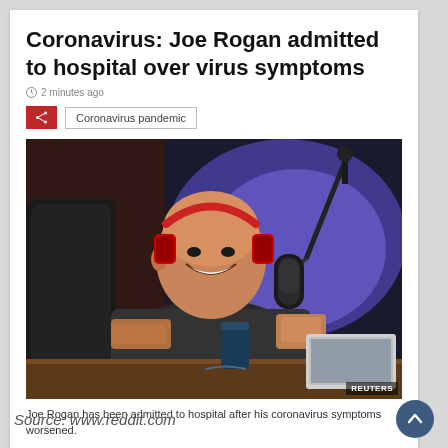Coronavirus: Joe Rogan admitted to hospital over virus symptoms
2 minutes ago
Coronavirus pandemic
[Figure (photo): Joe Rogan sitting at a podcast desk wearing red headphones and a dark t-shirt, smiling, with a microphone in front of him and a laptop to the right, studio lighting with blue tones. REUTERS watermark.]
Joe Rogan has been admitted to hospital after his coronavirus symptoms worsened.
Source: www.reddit.com